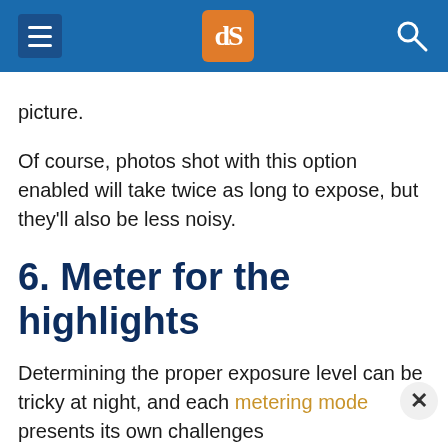dPS navigation header
picture.
Of course, photos shot with this option enabled will take twice as long to expose, but they'll also be less noisy.
6. Meter for the highlights
Determining the proper exposure level can be tricky at night, and each metering mode presents its own challenges